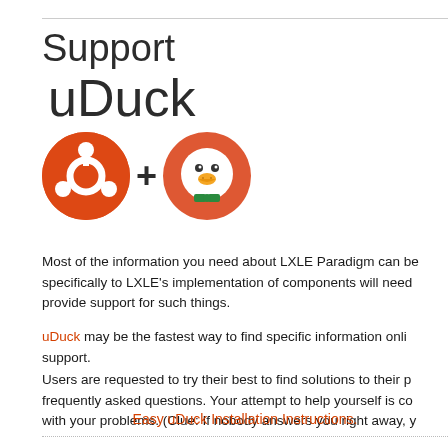Support uDuck
[Figure (logo): Ubuntu logo (orange circle with Ubuntu symbol) plus sign and DuckDuckGo logo (orange circle with duck face wearing green bowtie)]
Most of the information you need about LXLE Paradigm can be specifically to LXLE's implementation of components will need provide support for such things.
uDuck may be the fastest way to find specific information onli support.
Users are requested to try their best to find solutions to their p frequently asked questions. Your attempt to help yourself is co with your problems. (Clue: If nobody answers you right away, y
Easy uDuck Installation Instructions.
S